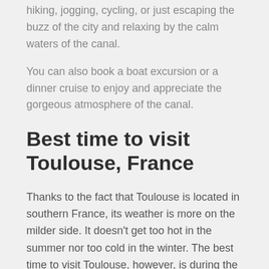hiking, jogging, cycling, or just escaping the buzz of the city and relaxing by the calm waters of the canal.
You can also book a boat excursion or a dinner cruise to enjoy and appreciate the gorgeous atmosphere of the canal.
Best time to visit Toulouse, France
Thanks to the fact that Toulouse is located in southern France, its weather is more on the milder side. It doesn't get too hot in the summer nor too cold in the winter. The best time to visit Toulouse, however, is during the spring and summer months, not just because this is when the city's weather is the nicest, but also because the city is usually the most alive at that time, that's when outdoor activities are mostly organized, cafes, restaurants, and bars are the most prepared for